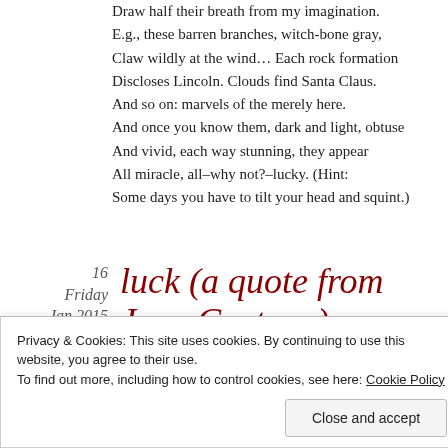Draw half their breath from my imagination.
E.g., these barren branches, witch-bone gray,
Claw wildly at the wind… Each rock formation
Discloses Lincoln. Clouds find Santa Claus.
And so on: marvels of the merely here.
And once you know them, dark and light, obtuse
And vivid, each way stunning, they appear
All miracle, all–why not?–lucky. (Hint:
Some days you have to tilt your head and squint.)
luck (a quote from Jean Cocteau)
16
Friday
Jan 2015
Privacy & Cookies: This site uses cookies. By continuing to use this website, you agree to their use. To find out more, including how to control cookies, see here: Cookie Policy
Close and accept